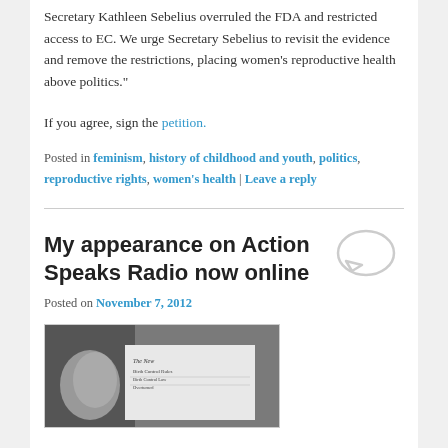Secretary Kathleen Sebelius overruled the FDA and restricted access to EC. We urge Secretary Sebelius to revisit the evidence and remove the restrictions, placing women's reproductive health above politics."
If you agree, sign the petition.
Posted in feminism, history of childhood and youth, politics, reproductive rights, women's health | Leave a reply
My appearance on Action Speaks Radio now online
Posted on November 7, 2012
[Figure (photo): Black and white photo of a person holding a newspaper, The New York Times, with headlines about birth control laws]